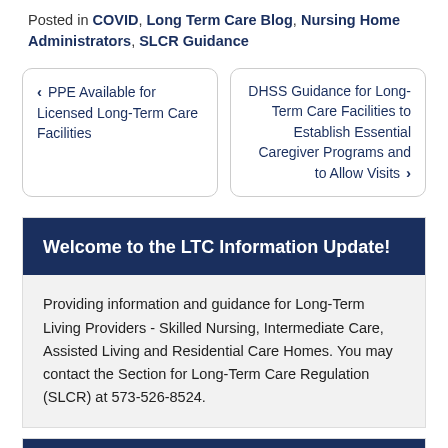Posted in COVID, Long Term Care Blog, Nursing Home Administrators, SLCR Guidance
< PPE Available for Licensed Long-Term Care Facilities
DHSS Guidance for Long-Term Care Facilities to Establish Essential Caregiver Programs and to Allow Visits >
Welcome to the LTC Information Update!
Providing information and guidance for Long-Term Living Providers - Skilled Nursing, Intermediate Care, Assisted Living and Residential Care Homes. You may contact the Section for Long-Term Care Regulation (SLCR) at 573-526-8524.
Links